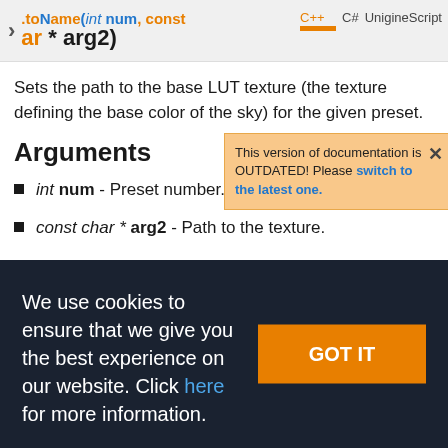.toName(int num, const char * arg2)
Sets the path to the base LUT texture (the texture defining the base color of the sky) for the given preset.
Arguments
This version of documentation is OUTDATED! Please switch to the latest one.
int num - Preset number.
const char * arg2 - Path to the texture.
We use cookies to ensure that we give you the best experience on our website. Click here for more information.